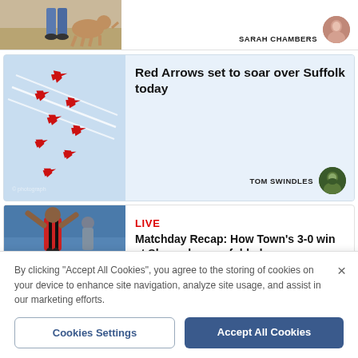[Figure (photo): Partial view of a person in jeans with a dog in a field]
SARAH CHAMBERS
[Figure (photo): Red Arrows aerobatic display team flying in formation against blue sky]
Red Arrows set to soar over Suffolk today
TOM SWINDLES
LIVE
Matchday Recap: How Town's 3-0 win at Shrewsbury unfolded
[Figure (photo): Football player celebrating in red and black striped kit]
By clicking "Accept All Cookies", you agree to the storing of cookies on your device to enhance site navigation, analyze site usage, and assist in our marketing efforts.
Cookies Settings
Accept All Cookies